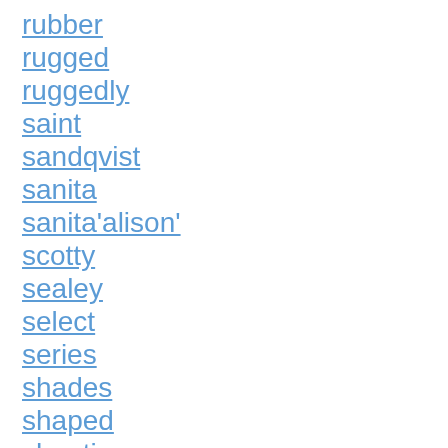rubber
rugged
ruggedly
saint
sandqvist
sanita
sanita'alison'
scotty
sealey
select
series
shades
shaped
sheeting
sherpa
shoes
shop